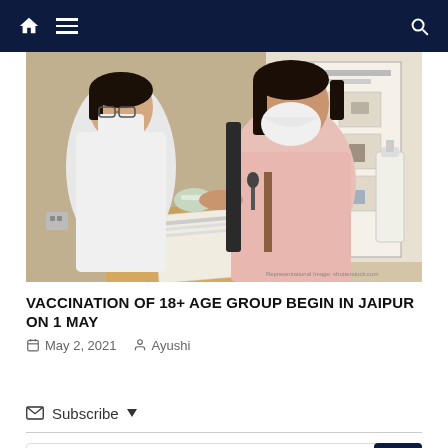Navigation bar with home, menu, and search icons
[Figure (photo): A healthcare worker in a white coat and mask administering a vaccine injection to a seated person wearing a pink top and N95 mask, with a vaccination information poster visible in the background.]
VACCINATION OF 18+ AGE GROUP BEGIN IN JAIPUR ON 1 MAY
May 2, 2021   Ayushi
Subscribe
Be the First to Comment!